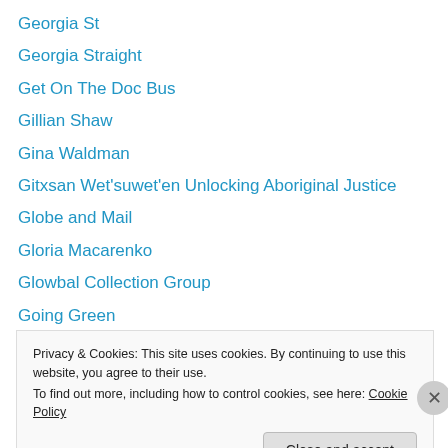Georgia St
Georgia Straight
Get On The Doc Bus
Gillian Shaw
Gina Waldman
Gitxsan Wet'suwet'en Unlocking Aboriginal Justice
Globe and Mail
Gloria Macarenko
Glowbal Collection Group
Going Green
Golden Spike Days
Graham Lloyd
Granville St
Privacy & Cookies: This site uses cookies. By continuing to use this website, you agree to their use.
To find out more, including how to control cookies, see here: Cookie Policy
Close and accept